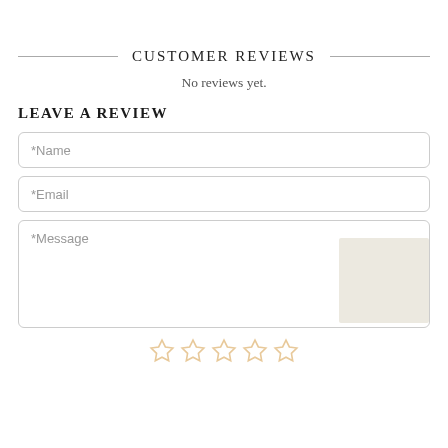CUSTOMER REVIEWS
No reviews yet.
LEAVE A REVIEW
*Name
*Email
*Message
[Figure (illustration): Five empty star rating icons in a row, shown in a light orange/tan outline color indicating unrated stars.]